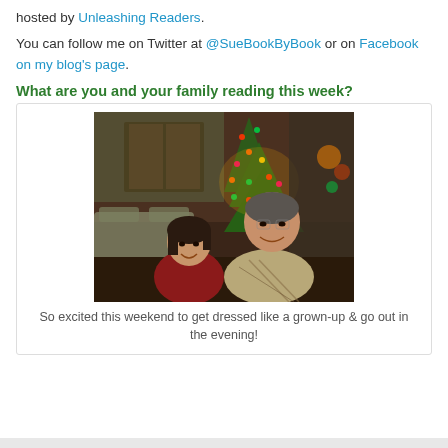hosted by Unleashing Readers.
You can follow me on Twitter at @SueBookByBook or on Facebook on my blog's page.
What are you and your family reading this week?
[Figure (photo): A couple posing together indoors in front of a lit Christmas tree with colorful lights. The woman is on the left wearing a dark red top, and the man is on the right wearing a plaid shirt.]
So excited this weekend to get dressed like a grown-up & go out in the evening!